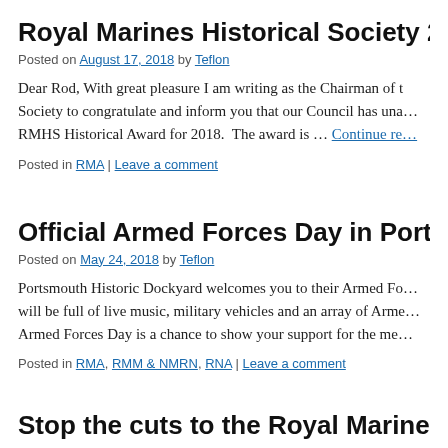Royal Marines Historical Society 2018 Aw…
Posted on August 17, 2018 by Teflon
Dear Rod, With great pleasure I am writing as the Chairman of the Society to congratulate and inform you that our Council has una… RMHS Historical Award for 2018.  The award is … Continue re…
Posted in RMA | Leave a comment
Official Armed Forces Day in Portsmouth…
Posted on May 24, 2018 by Teflon
Portsmouth Historic Dockyard welcomes you to their Armed Fo… will be full of live music, military vehicles and an array of Arme… Armed Forces Day is a chance to show your support for the me…
Posted in RMA, RMM & NMRN, RNA | Leave a comment
Stop the cuts to the Royal Marines and th…